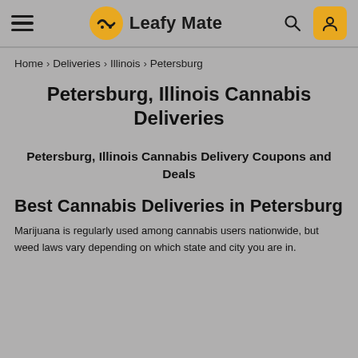Leafy Mate
Home > Deliveries > Illinois > Petersburg
Petersburg, Illinois Cannabis Deliveries
Petersburg, Illinois Cannabis Delivery Coupons and Deals
Best Cannabis Deliveries in Petersburg
Marijuana is regularly used among cannabis users nationwide, but weed laws vary depending on which state and city you are in.